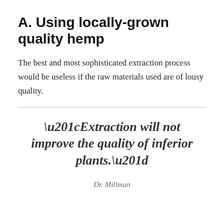A. Using locally-grown quality hemp
The best and most sophisticated extraction process would be useless if the raw materials used are of lousy quality.
“Extraction will not improve the quality of inferior plants.”
Dr. Millman